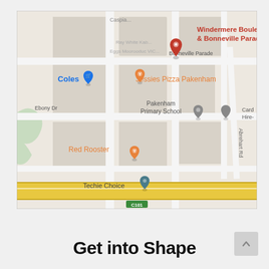[Figure (map): Google Maps screenshot showing Pakenham area in Victoria, Australia. Shows streets including Windermere Boulevard, Bonneville Parade, Ebony Dr, Abrehart Rd, and highway C101. Markers visible for Windermere Boulevard & Bonneville Parade (red pin), Coles (blue shopping cart marker), Jessies Pizza Pakenham (orange food marker), Red Rooster (orange food marker), Techie Choice (teal pin), Pakenham Primary School (grey graduation cap marker), Card Hire- (grey pin). A yellow highway runs along the bottom.]
Get into Shape